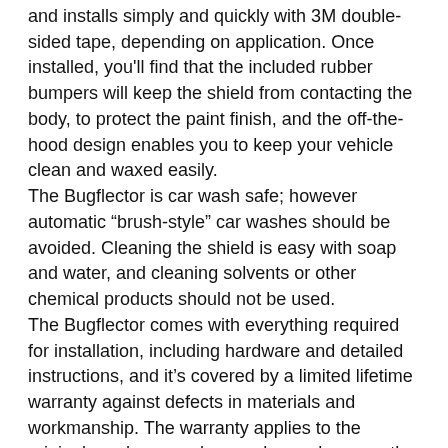and installs simply and quickly with 3M double-sided tape, depending on application. Once installed, you'll find that the included rubber bumpers will keep the shield from contacting the body, to protect the paint finish, and the off-the-hood design enables you to keep your vehicle clean and waxed easily. The Bugflector is car wash safe; however automatic “brush-style” car washes should be avoided. Cleaning the shield is easy with soap and water, and cleaning solvents or other chemical products should not be used. The Bugflector comes with everything required for installation, including hardware and detailed instructions, and it’s covered by a limited lifetime warranty against defects in materials and workmanship. The warranty applies to the original purchaser as long as he or she owns the vehicle on which the product is installed.